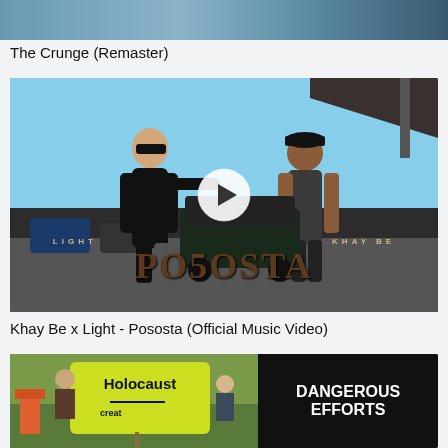[Figure (screenshot): Top partial thumbnail image of a video, cropped, showing a scene]
The Crunge (Remaster)
[Figure (screenshot): Music video thumbnail for 'Pososta' by Khay Be x Light showing two men facing each other with a play button overlay and stylized text overlay reading LIGHT, KHAY BE, and POSOSTA]
Khay Be x Light - Pososta (Official Music Video)
[Figure (screenshot): Split thumbnail: left side shows protesters holding a yellow sign reading 'Holocaust' with additional text, right side shows black background with white bold text reading 'DANGEROUS EFFORTS']